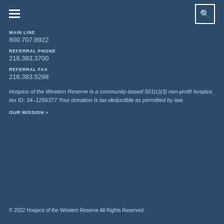MAIN LINE
800.707.8922
REFERRAL PHONE
216.383.3700
REFERRAL FAX
216.383.5298
Hospice of the Western Reserve is a community-based 501(c)(3) non-profit hospice, tax ID: 34-1256377 Your donation is tax-deductible as permitted by law.
OUR MISSION »
© 2022 Hospice of the Western Reserve All Rights Reserved.